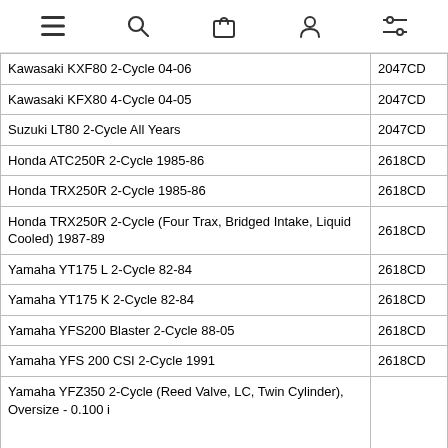navigation icons: menu, search, cart, account, filters
| Model | Code |
| --- | --- |
| Kawasaki KXF80 2-Cycle 04-06 | 2047CD |
| Kawasaki KFX80 4-Cycle 04-05 | 2047CD |
| Suzuki LT80 2-Cycle All Years | 2047CD |
| Honda ATC250R 2-Cycle 1985-86 | 2618CD |
| Honda TRX250R 2-Cycle 1985-86 | 2618CD |
| Honda TRX250R 2-Cycle (Four Trax, Bridged Intake, Liquid Cooled) 1987-89 | 2618CD |
| Yamaha YT175 L 2-Cycle 82-84 | 2618CD |
| Yamaha YT175 K 2-Cycle 82-84 | 2618CD |
| Yamaha YFS200 Blaster 2-Cycle 88-05 | 2618CD |
| Yamaha YFS 200 CSI 2-Cycle 1991 | 2618CD |
| Yamaha YFZ350 2-Cycle (Reed Valve, LC, Twin Cylinder), Oversize - 0.100 i |  |
Recommend Products
Ring Set - 57.50mm 1985 Yamaha YT125 Tri-Moto